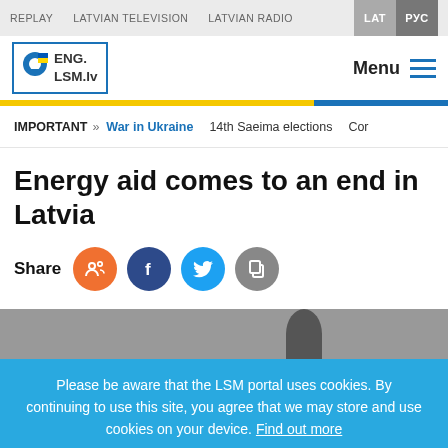REPLAY   LATVIAN TELEVISION   LATVIAN RADIO   LAT   РУС
[Figure (logo): ENG.LSM.lv logo with location pin icon and Ukrainian flag colors]
Menu
IMPORTANT >> War in Ukraine   14th Saeima elections   Cor...
Energy aid comes to an end in Latvia
Share
[Figure (photo): Partial photo of a person, mostly cropped]
Please be aware that the LSM portal uses cookies. By continuing to use this site, you agree that we may store and use cookies on your device. Find out more
Accept and continue